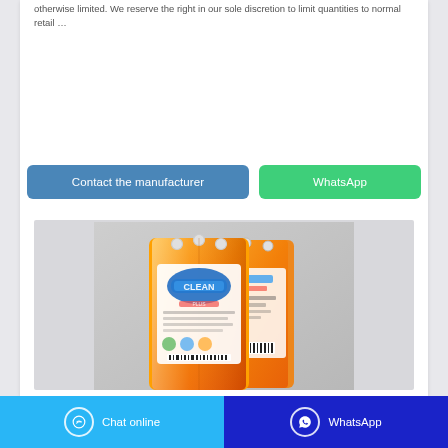otherwise limited. We reserve the right in our sole discretion to limit quantities to normal retail …
Contact the manufacturer
WhatsApp
[Figure (photo): Orange plastic bag of laundry detergent powder product, showing front and back panels with colorful branding and label text, displayed against a grey background.]
Chat online   WhatsApp